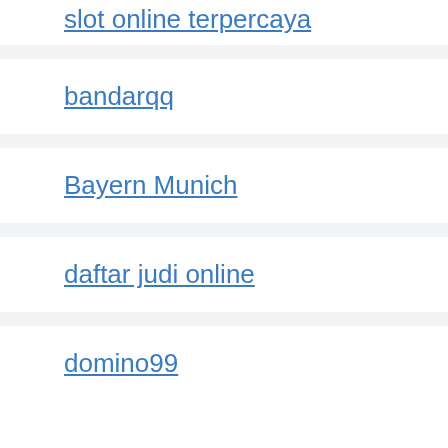slot online terpercaya
bandarqq
Bayern Munich
daftar judi online
domino99